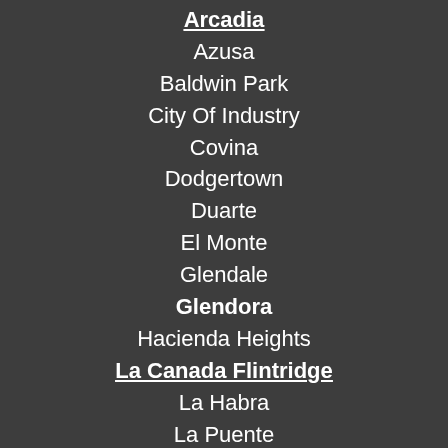Arcadia
Azusa
Baldwin Park
City Of Industry
Covina
Dodgertown
Duarte
El Monte
Glendale
Glendora
Hacienda Heights
La Canada Flintridge
La Habra
La Puente
La Verne
Los Angeles
Monrovia
Montebello